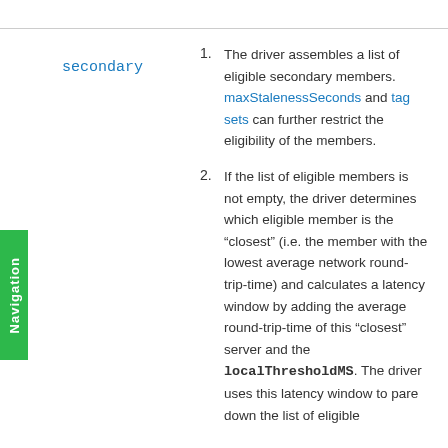secondary
The driver assembles a list of eligible secondary members. maxStalenessSeconds and tagsets can further restrict the eligibility of the members.
If the list of eligible members is not empty, the driver determines which eligible member is the “closest” (i.e. the member with the lowest average network round-trip-time) and calculates a latency window by adding the average round-trip-time of this “closest” server and the localThresholdMS. The driver uses this latency window to pare down the list of eligible